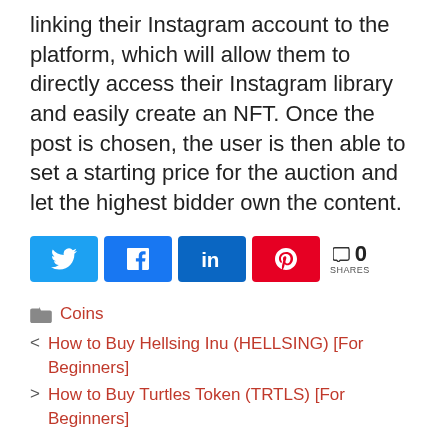linking their Instagram account to the platform, which will allow them to directly access their Instagram library and easily create an NFT. Once the post is chosen, the user is then able to set a starting price for the auction and let the highest bidder own the content.
[Figure (infographic): Social share buttons: Twitter (blue), Facebook (blue), LinkedIn (dark blue), Pinterest (red), and a share count showing 0 SHARES]
Coins
< How to Buy Hellsing Inu (HELLSING) [For Beginners]
> How to Buy Turtles Token (TRTLS) [For Beginners]